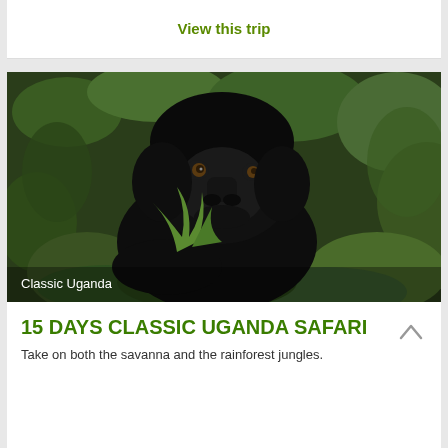View this trip
[Figure (photo): Close-up photo of a baby mountain gorilla in green rainforest vegetation, with text overlay 'Classic Uganda' and a red bar at the bottom of the image]
15 DAYS CLASSIC UGANDA SAFARI
Take on both the savanna and the rainforest jungles.